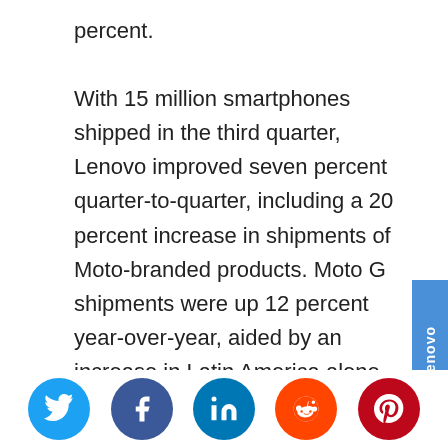percent. With 15 million smartphones shipped in the third quarter, Lenovo improved seven percent quarter-to-quarter, including a 20 percent increase in shipments of Moto-branded products. Moto G shipments were up 12 percent year-over-year, aided by an increase in Latin America alone of 23 percent. In India, the world’s third-largest smartphone market, Lenovo was a strong smartphone supplier with 9.9 percent market share, the largest...